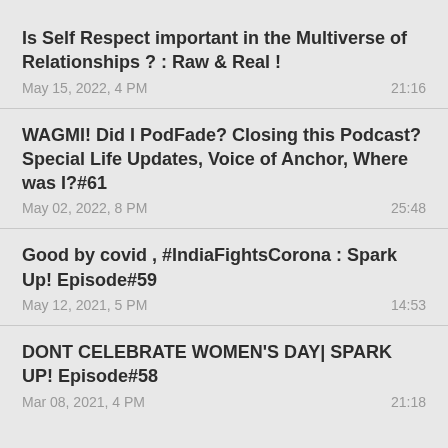Is Self Respect important in the Multiverse of Relationships ? : Raw & Real !
May 15, 2022, 4 PM	21:16
WAGMI! Did I PodFade? Closing this Podcast?Special Life Updates, Voice of Anchor, Where was I?#61
May 02, 2022, 8 PM	25:48
Good by covid , #IndiaFightsCorona : Spark Up! Episode#59
May 12, 2021, 5 PM	14:53
DONT CELEBRATE WOMEN'S DAY| SPARK UP! Episode#58
Mar 08, 2021, 4 PM	21:18